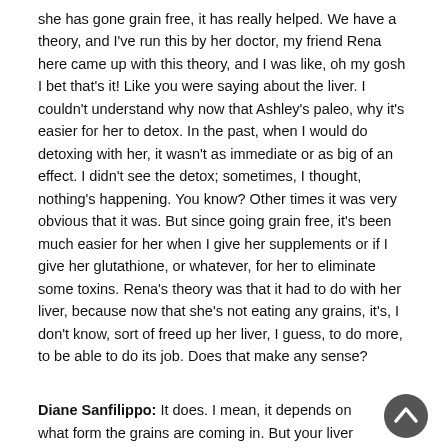she has gone grain free, it has really helped. We have a theory, and I've run this by her doctor, my friend Rena here came up with this theory, and I was like, oh my gosh I bet that's it! Like you were saying about the liver. I couldn't understand why now that Ashley's paleo, why it's easier for her to detox. In the past, when I would do detoxing with her, it wasn't as immediate or as big of an effect. I didn't see the detox; sometimes, I thought, nothing's happening. You know? Other times it was very obvious that it was. But since going grain free, it's been much easier for her when I give her supplements or if I give her glutathione, or whatever, for her to eliminate some toxins. Rena's theory was that it had to do with her liver, because now that she's not eating any grains, it's, I don't know, sort of freed up her liver, I guess, to do more, to be able to do its job. Does that make any sense?
Diane Sanfilippo: It does. I mean, it depends on what form the grains are coming in. But your liver
[Figure (other): Back to top button — circular dark grey button with an upward-pointing chevron/arrow in white]